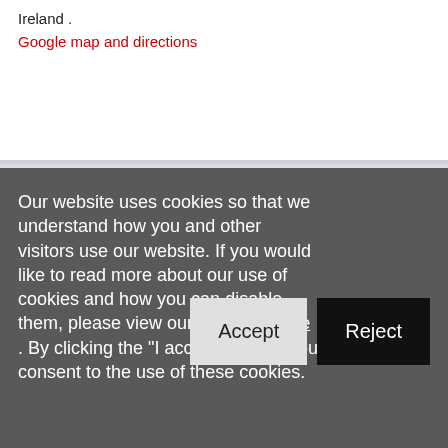Ireland .
Google map and directions
Our website uses cookies so that we understand how you and other visitors use our website. If you would like to read more about our use of cookies and how you can disable them, please view our Cookie Notice . By clicking the "I accept" button, you consent to the use of these cookies.